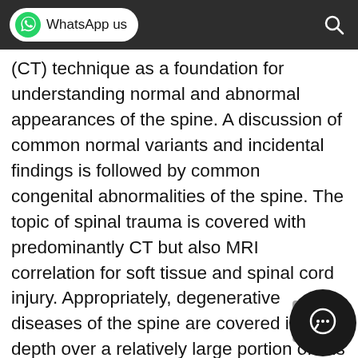WhatsApp us
(CT) technique as a foundation for understanding normal and abnormal appearances of the spine. A discussion of common normal variants and incidental findings is followed by common congenital abnormalities of the spine. The topic of spinal trauma is covered with predominantly CT but also MRI correlation for soft tissue and spinal cord injury. Appropriately, degenerative diseases of the spine are covered in depth over a relatively large portion of this chapter with multiple illustrative images, followed by less common rheumatologic conditions of the spine. Vascular lesions of the spine, including dural arteriovenous malformations, are reviewed